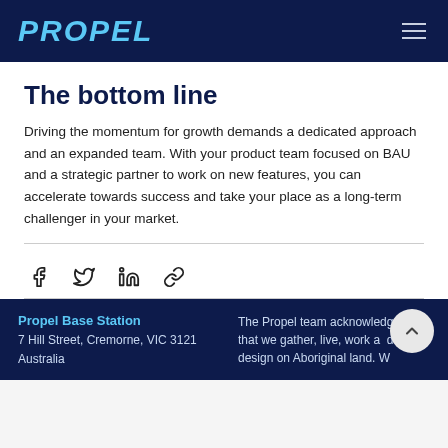PROPEL
The bottom line
Driving the momentum for growth demands a dedicated approach and an expanded team. With your product team focused on BAU and a strategic partner to work on new features, you can accelerate towards success and take your place as a long-term challenger in your market.
[Figure (infographic): Social media share icons row: Facebook, Twitter, LinkedIn, and link/chain icon]
Propel Base Station
7 Hill Street, Cremorne, VIC 3121
Australia
The Propel team acknowledges that we gather, live, work and design on Aboriginal land. We...